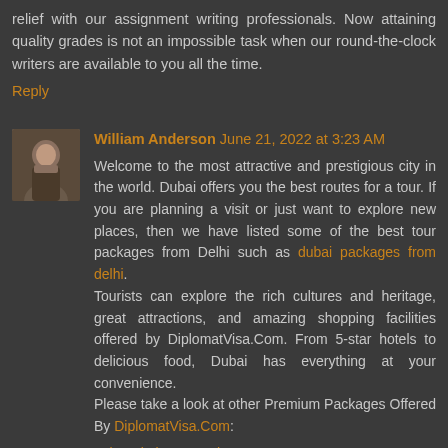relief with our assignment writing professionals. Now attaining quality grades is not an impossible task when our round-the-clock writers are available to you all the time.
Reply
William Anderson June 21, 2022 at 3:23 AM
Welcome to the most attractive and prestigious city in the world. Dubai offers you the best routes for a tour. If you are planning a visit or just want to explore new places, then we have listed some of the best tour packages from Delhi such as dubai packages from delhi. Tourists can explore the rich cultures and heritage, great attractions, and amazing shopping facilities offered by DiplomatVisa.Com. From 5-star hotels to delicious food, Dubai has everything at your convenience. Please take a look at other Premium Packages Offered By DiplomatVisa.Com:
1. bangkok tour packages
2. tour packages for canada
3. bali packages from delhi
4. usa tour packages